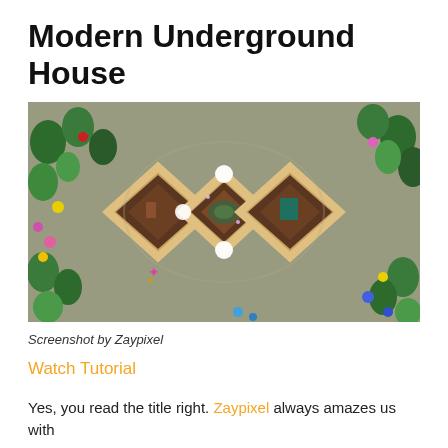Modern Underground House
[Figure (screenshot): Aerial top-down view of a Minecraft modern underground house with three diamond-shaped rooms surrounded by colorful flowers and trees]
Screenshot by Zaypixel
Watch Tutorial
Yes, you read the title right. Zaypixel always amazes us with